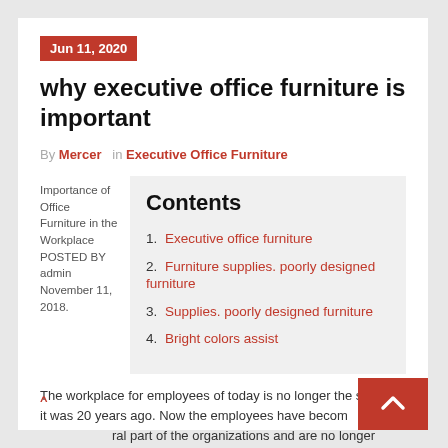Jun 11, 2020
why executive office furniture is important
By Mercer in Executive Office Furniture
Importance of Office Furniture in the Workplace POSTED BY admin November 11, 2018.
Contents
1. Executive office furniture
2. Furniture supplies. poorly designed furniture
3. Supplies. poorly designed furniture
4. Bright colors assist
The workplace for employees of today is no longer the same as it was 20 years ago. Now the employees have become a central part of the organizations and are no longer treated...